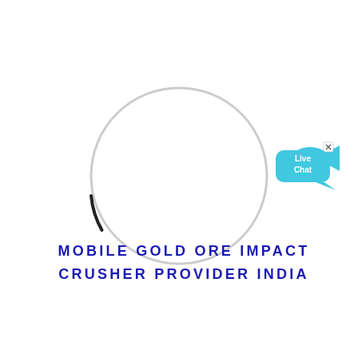[Figure (other): A loading spinner circle: a thin light gray circle with a short dark/black arc segment on the lower-left portion, indicating a loading animation. A 'Live Chat' widget appears in the upper-right area with a cyan/blue speech bubble icon containing 'Live Chat' text and a small fish graphic.]
MOBILE GOLD ORE IMPACT CRUSHER PROVIDER INDIA